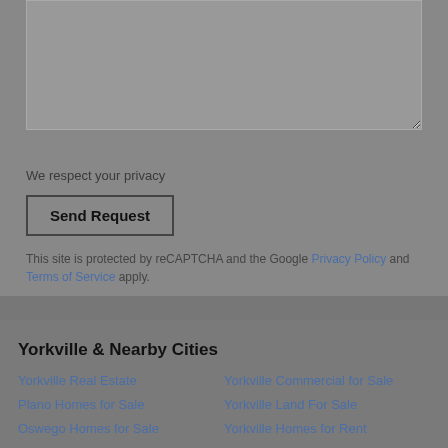[Figure (screenshot): Textarea input field with gray background]
We respect your privacy
Send Request
This site is protected by reCAPTCHA and the Google Privacy Policy and Terms of Service apply.
Yorkville & Nearby Cities
Yorkville Real Estate
Plano Homes for Sale
Oswego Homes for Sale
Millbrook Homes for Sale
Montgomery Homes for Sale
Sugar Grove Homes for Sale
Yorkville Commercial for Sale
Yorkville Land For Sale
Yorkville Homes for Rent
Yorkville ZIPs
60560 Homes for Sale